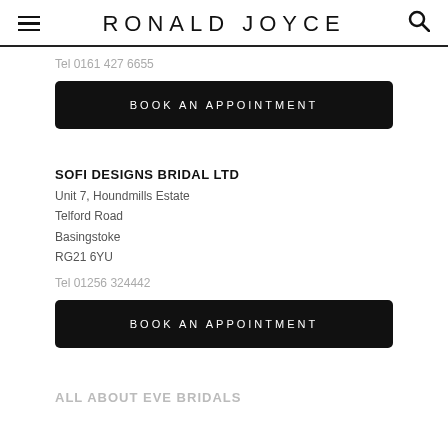RONALD JOYCE
Tel 0161 427 6655
BOOK AN APPOINTMENT
SOFI DESIGNS BRIDAL LTD
Unit 7, Houndmills Estate
Telford Road
Basingstoke
RG21 6YU

Tel 01256 324442
BOOK AN APPOINTMENT
ALL ABOUT EVE BRIDALS